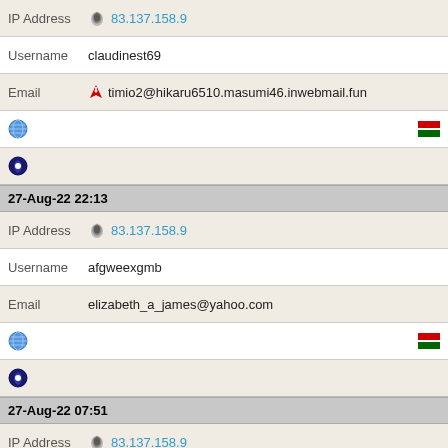IP Address 83.137.158.9
Username claudinest69
Email timio2@hikaru6510.masumi46.inwebmail.fun
(globe icon, flag icons)
(shield icon)
27-Aug-22 22:13
IP Address 83.137.158.9
Username afgweexgmb
Email elizabeth_a_james@yahoo.com
(globe icon, flag icons)
(shield icon)
27-Aug-22 07:51
IP Address 83.137.158.9
Username opalck4
Email wr18@kunio3010.daisuke42.officemail.fun
(globe icon, flag icons)